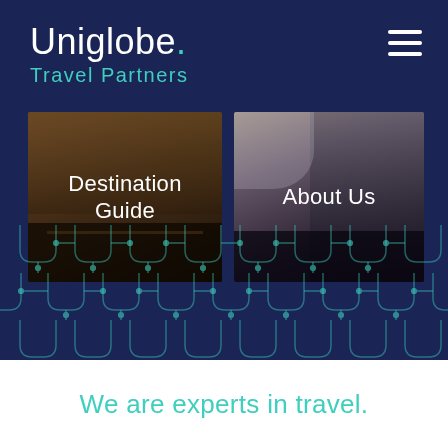[Figure (logo): Uniglobe Travel Partners logo — white sans-serif text 'Uniglobe.' with teal dot above the i, subtitle 'Travel Partners' in teal]
[Figure (screenshot): Two side-by-side navigation cards on a dark navy background. Left card shows 'Destination Guide' text over a dark interior/hotel photo. Right card shows 'About Us' text over a photo of a person with luggage. Below cards is a dark navy section with a repeating teal U-shaped network pattern.]
We are experts in travel.